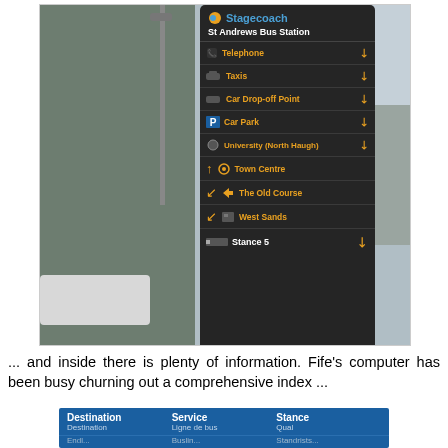[Figure (photo): Photograph of a Stagecoach directional sign at St Andrews Bus Station. The dark sign shows destinations including Telephone, Taxis, Car Drop-off Point, Car Park, University (North Haugh), Town Centre, The Old Course, West Sands, and Stance 5, with directional arrows. Trees and a lamppost are visible in the background.]
... and inside there is plenty of information. Fife's computer has been busy churning out a comprehensive index ...
[Figure (photo): Partial view of a blue information board showing a table with columns: Destination (Destination / Endl...), Service (Ligne de bus / Buslin...), Stance (Qual / Standrists...)]